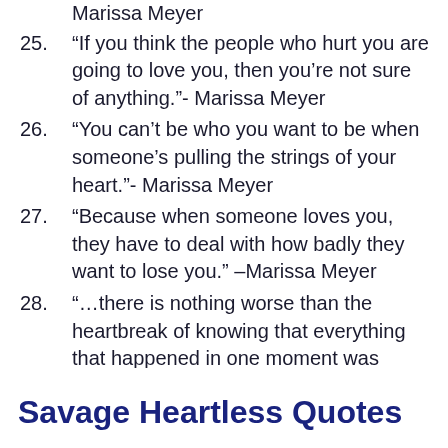Marissa Meyer
25. “If you think the people who hurt you are going to love you, then you’re not sure of anything.”- Marissa Meyer
26. “You can’t be who you want to be when someone’s pulling the strings of your heart.”- Marissa Meyer
27. “Because when someone loves you, they have to deal with how badly they want to lose you.” –Marissa Meyer
28. “…there is nothing worse than the heartbreak of knowing that everything that happened in one moment was inevitable and unstoppable.
Savage Heartless Quotes